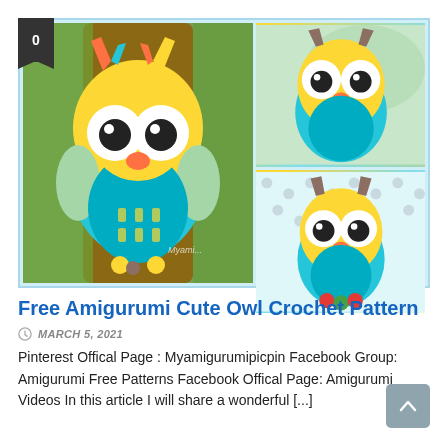[Figure (photo): Three photos of a crocheted amigurumi owl toy in yellow and teal colors. The large photo on the left shows the owl sitting against a tree trunk. Two smaller photos on the right show different angles of the same owl toy.]
Free Amigurumi Cute Owl Crochet Pattern
MARCH 5, 2021
Pinterest Offical Page : Myamigurumipicpin Facebook Group: Amigurumi Free Patterns Facebook Offical Page: Amigurumi Videos In this article I will share a wonderful [...]